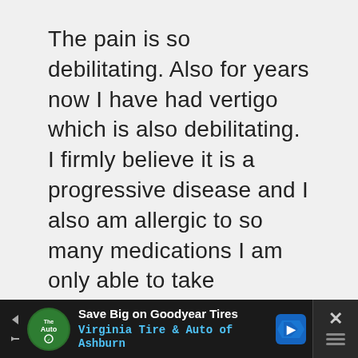The pain is so debilitating. Also for years now I have had vertigo which is also debilitating. I firmly believe it is a progressive disease and I also am allergic to so many medications I am only able to take childrens pain medications. It is a life long illness that most family and friends just do not understand. If you look good they then think you are good. Not true. I put on an act when I am in
[Figure (screenshot): Advertisement banner: Save Big on Goodyear Tires - Virginia Tire & Auto of Ashburn, with The Auto logo, navigation arrow icon, Goodyear direction sign icon, and a close (X) button on dark background.]